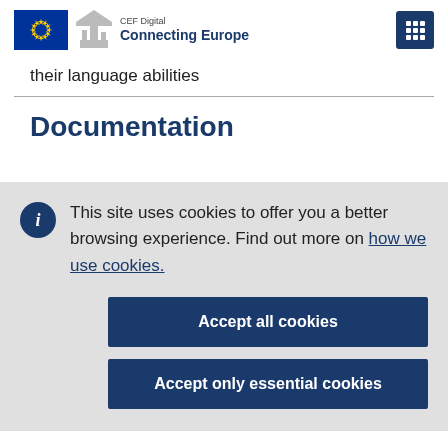CEF Digital Connecting Europe
their language abilities
Documentation
This site uses cookies to offer you a better browsing experience. Find out more on how we use cookies.
Accept all cookies
Accept only essential cookies